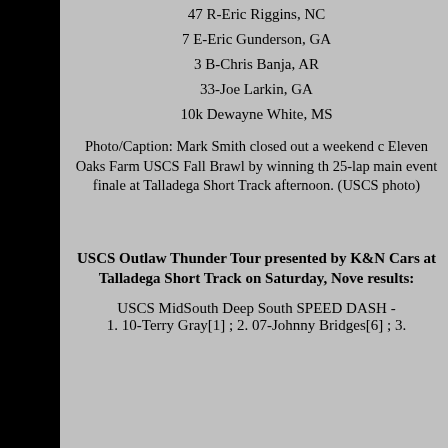47 R-Eric Riggins, NC
7 E-Eric Gunderson, GA
3 B-Chris Banja, AR
33-Joe Larkin, GA
10k Dewayne White, MS
Photo/Caption: Mark Smith closed out a weekend at Eleven Oaks Farm USCS Fall Brawl by winning the 25-lap main event finale at Talladega Short Track afternoon. (USCS photo)
USCS Outlaw Thunder Tour presented by K&N Cars at Talladega Short Track on Saturday, November results:
USCS MidSouth Deep South SPEED DASH - 1. 10-Terry Gray[1]; 2. 07-Johnny Bridges[6]; 3.